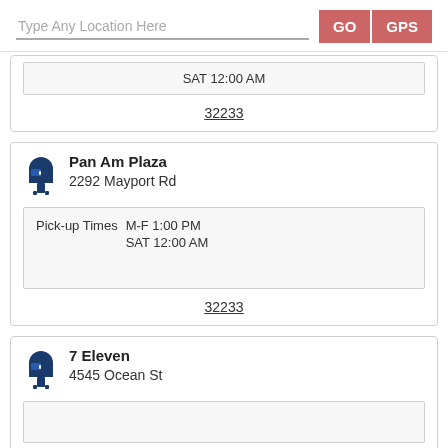Type Any Location Here   GO   GPS
SAT 12:00 AM
32233
Pan Am Plaza
2292 Mayport Rd
Pick-up Times M-F 1:00 PM SAT 12:00 AM
32233
7 Eleven
4545 Ocean St